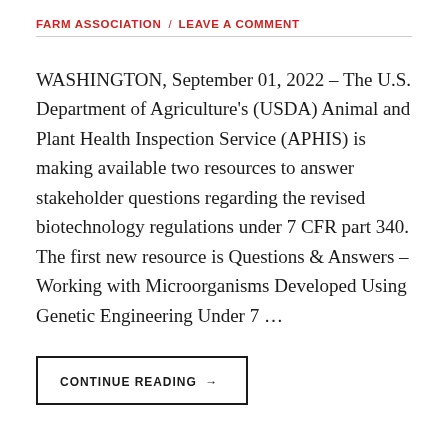FARM ASSOCIATION / LEAVE A COMMENT
WASHINGTON, September 01, 2022 – The U.S. Department of Agriculture's (USDA) Animal and Plant Health Inspection Service (APHIS) is making available two resources to answer stakeholder questions regarding the revised biotechnology regulations under 7 CFR part 340. The first new resource is Questions & Answers – Working with Microorganisms Developed Using Genetic Engineering Under 7 …
CONTINUE READING →